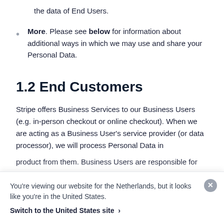More. Please see below for information about additional ways in which we may use and share your Personal Data.
1.2 End Customers
Stripe offers Business Services to our Business Users (e.g. in-person checkout or online checkout). When we are acting as a Business User’s service provider (or data processor), we will process Personal Data in
You’re viewing our website for the Netherlands, but it looks like you’re in the United States. Switch to the United States site ›
product from them. Business Users are responsible for